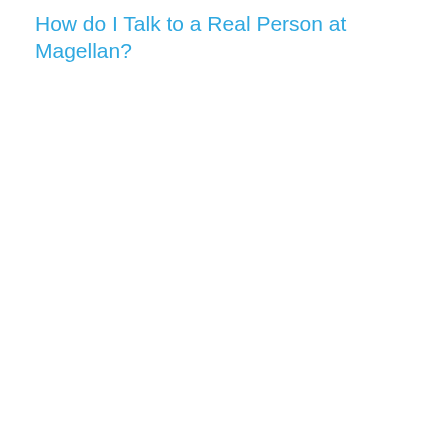How do I Talk to a Real Person at Magellan?